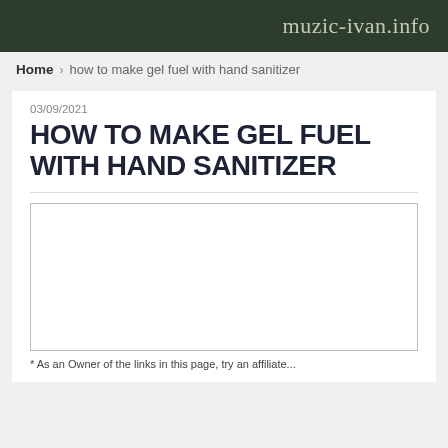muzic-ivan.info
Home › how to make gel fuel with hand sanitizer
03/09/2021
HOW TO MAKE GEL FUEL WITH HAND SANITIZER
[Figure (other): Empty white image placeholder with gray border]
* As an Owner of the links in this page, try an affiliate...